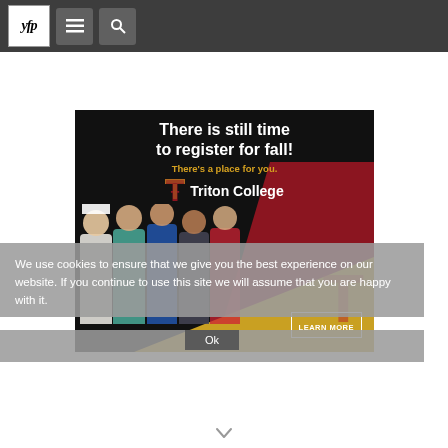yfp [navigation menu] [search]
[Figure (illustration): Triton College advertisement banner. Dark background with text 'There is still time to register for fall!' in white bold, tagline 'There's a place for you.' in gold/yellow, Triton College logo and name in white. Group of diverse students (chef, medical worker, basketball player, photographer, baseball player) in lower portion. Diagonal gold and maroon stripe with LEARN MORE button. Background transitions to maroon on right side.]
We use cookies to ensure that we give you the best experience on our website. If you continue to use this site we will assume that you are happy with it.
Ok